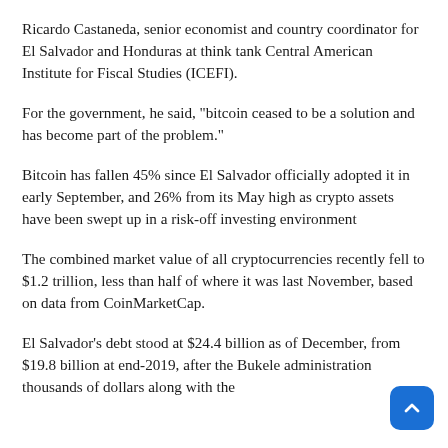Ricardo Castaneda, senior economist and country coordinator for El Salvador and Honduras at think tank Central American Institute for Fiscal Studies (ICEFI).
For the government, he said, "bitcoin ceased to be a solution and has become part of the problem."
Bitcoin has fallen 45% since El Salvador officially adopted it in early September, and 26% from its May high as crypto assets have been swept up in a risk-off investing environment
The combined market value of all cryptocurrencies recently fell to $1.2 trillion, less than half of where it was last November, based on data from CoinMarketCap.
El Salvador's debt stood at $24.4 billion as of December, from $19.8 billion at end-2019, after the Bukele administration themselves billions of dollars along with the